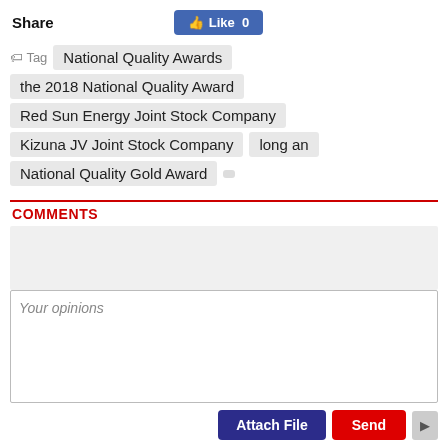Share
[Figure (other): Facebook Like button showing 'Like 0']
Tag  National Quality Awards  the 2018 National Quality Award  Red Sun Energy Joint Stock Company  Kizuna JV Joint Stock Company  long an  National Quality Gold Award
COMMENTS
Your opinions
Attach File
Send
Acting - Deputy Editor -in- Chief: Phung Tan Tu